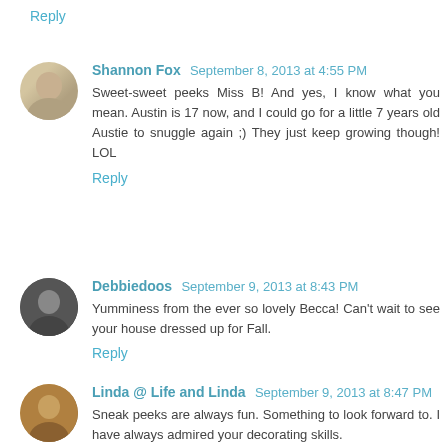Reply
Shannon Fox  September 8, 2013 at 4:55 PM
Sweet-sweet peeks Miss B! And yes, I know what you mean. Austin is 17 now, and I could go for a little 7 years old Austie to snuggle again ;) They just keep growing though! LOL
Reply
Debbiedoos  September 9, 2013 at 8:43 PM
Yumminess from the ever so lovely Becca! Can't wait to see your house dressed up for Fall.
Reply
Linda @ Life and Linda  September 9, 2013 at 8:47 PM
Sneak peeks are always fun. Something to look forward to. I have always admired your decorating skills.